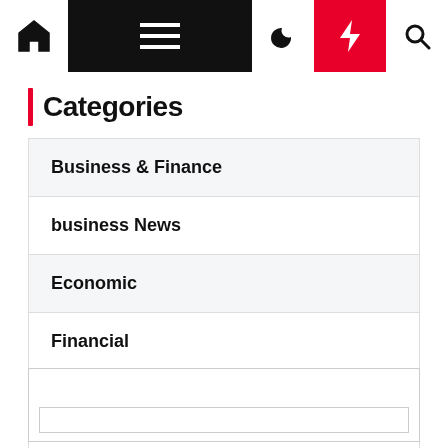Navigation bar with home, menu, moon, bolt, and search icons
| Categories
Business & Finance
business News
Economic
Financial
Marketing
Uncategorized